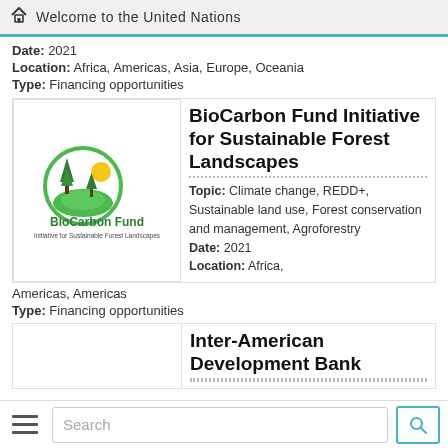Welcome to the United Nations
Date: 2021
Location: Africa, Americas, Asia, Europe, Oceania
Type: Financing opportunities
[Figure (logo): BioCarbon Fund Initiative for Sustainable Forest Landscapes logo — circular green emblem with trees and sun, green text]
BioCarbon Fund Initiative for Sustainable Forest Landscapes
Topic: Climate change, REDD+, Sustainable land use, Forest conservation and management, Agroforestry
Date: 2021
Location: Africa,
Americas, Americas
Type: Financing opportunities
Inter-American Development Bank